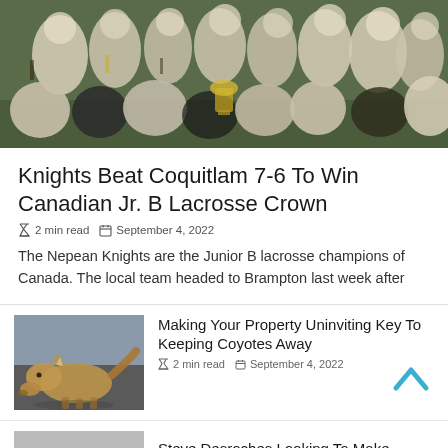[Figure (photo): Team photo of the Nepean Knights lacrosse team celebrating their Canadian Jr. B Lacrosse Crown victory, players seated and standing on a green field holding a trophy]
Knights Beat Coquitlam 7-6 To Win Canadian Jr. B Lacrosse Crown
2 min read  September 4, 2022
The Nepean Knights are the Junior B lacrosse champions of Canada. The local team headed to Brampton last week after
[Figure (photo): A coyote sniffing the ground on a road surface]
Making Your Property Uninviting Key To Keeping Coyotes Away
2 min read  September 4, 2022
[Figure (photo): Partial image of a person, possibly Steve Desroches]
Steve Desroches Looking To Make